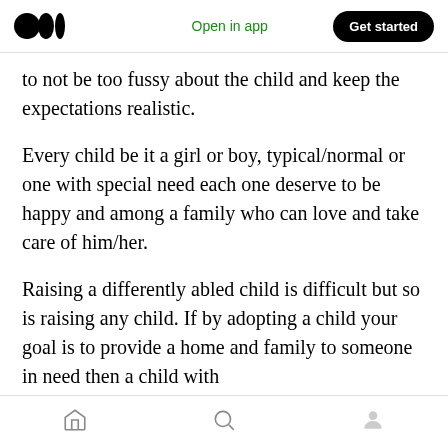Medium logo | Open in app | Get started
to not be too fussy about the child and keep the expectations realistic.
Every child be it a girl or boy, typical/normal or one with special need each one deserve to be happy and among a family who can love and take care of him/her.
Raising a differently abled child is difficult but so is raising any child. If by adopting a child your goal is to provide a home and family to someone in need then a child with special need should be equally preferred, as most
Home | Search | Profile